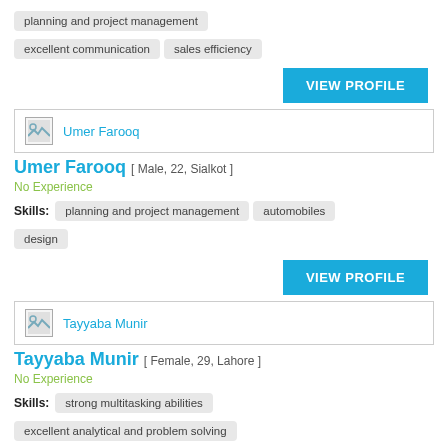planning and project management
excellent communication
sales efficiency
VIEW PROFILE
Umer Farooq
Umer Farooq [ Male, 22, Sialkot ]
No Experience
planning and project management
automobiles
design
VIEW PROFILE
Tayyaba Munir
Tayyaba Munir [ Female, 29, Lahore ]
No Experience
strong multitasking abilities
excellent analytical and problem solving
great attention to detail